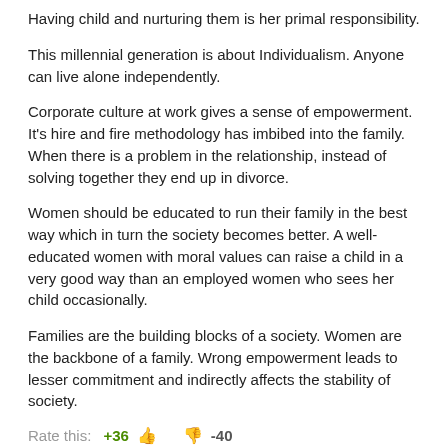Having child and nurturing them is her primal responsibility.
This millennial generation is about Individualism. Anyone can live alone independently.
Corporate culture at work gives a sense of empowerment. It's hire and fire methodology has imbibed into the family. When there is a problem in the relationship, instead of solving together they end up in divorce.
Women should be educated to run their family in the best way which in turn the society becomes better. A well-educated women with moral values can raise a child in a very good way than an employed women who sees her child occasionally.
Families are the building blocks of a society. Women are the backbone of a family. Wrong empowerment leads to lesser commitment and indirectly affects the stability of society.
Rate this:   +36 👍   👎 -40
Hepsiba said: (Nov 25, 2016)
Divorce, feminism and male chauvinism are not the reason for